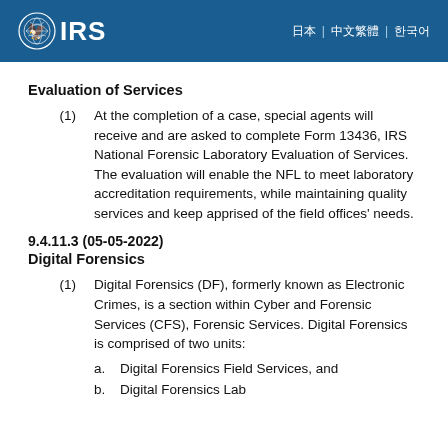IRS
Evaluation of Services
(1) At the completion of a case, special agents will receive and are asked to complete Form 13436, IRS National Forensic Laboratory Evaluation of Services. The evaluation will enable the NFL to meet laboratory accreditation requirements, while maintaining quality services and keep apprised of the field offices' needs.
9.4.11.3 (05-05-2022)
Digital Forensics
(1) Digital Forensics (DF), formerly known as Electronic Crimes, is a section within Cyber and Forensic Services (CFS), Forensic Services. Digital Forensics is comprised of two units:
a. Digital Forensics Field Services, and
b. Digital Forensics Lab